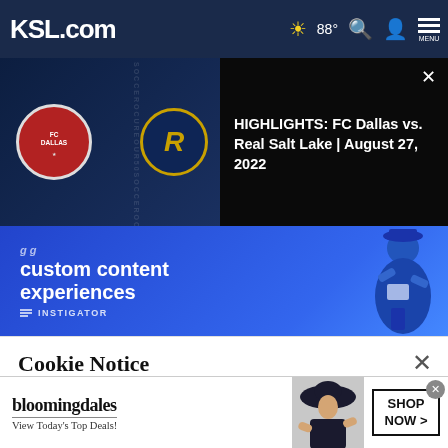KSL.com  88°  MENU
[Figure (screenshot): FC Dallas vs Real Salt Lake soccer match video thumbnail with team logos on dark blue background]
HIGHLIGHTS: FC Dallas vs. Real Salt Lake | August 27, 2022
[Figure (photo): Advertisement banner for custom content experiences by Instigator, blue background with illustrated person]
Cookie Notice
We use cookies to improve your experience, analyze site traffic, and to personalize content and ads. By continuing to use our site, you consent to our use of cookies. Please visit our Terms of Use and  Privacy Policy for more information
[Figure (photo): Bloomingdales advertisement - View Today's Top Deals! with woman in hat, SHOP NOW > button]